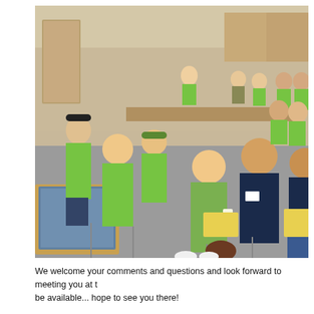[Figure (photo): A group of people seated in rows of chairs in a meeting room or community hall. Many attendees are wearing bright green t-shirts with a logo. A woman in the foreground wears a green jacket and holds a coffee cup and papers. A man in a dark navy shirt sits next to her. Other participants are visible in the background, some standing near tables. Display boards or maps are visible in the lower left corner.]
We welcome your comments and questions and look forward to meeting you at t... be available... hope to see you there!